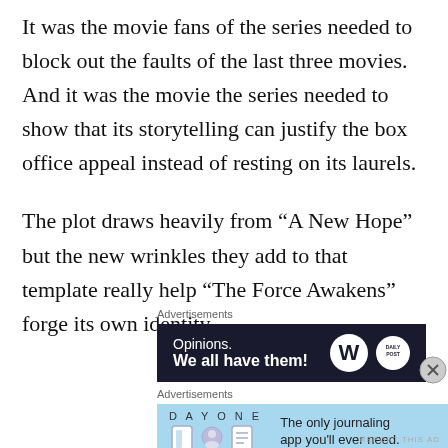It was the movie fans of the series needed to block out the faults of the last three movies. And it was the movie the series needed to show that its storytelling can justify the box office appeal instead of resting on its laurels.
The plot draws heavily from “A New Hope” but the new wrinkles they add to that template really help “The Force Awakens” forge its own identity.
Advertisements
[Figure (other): WordPress advertisement banner with dark navy background showing 'Opinions. We all have them!' with WordPress and Daily Post logos]
Advertisements
[Figure (other): Day One journaling app advertisement with light blue background showing app icons and text 'The only journaling app you'll ever need.']